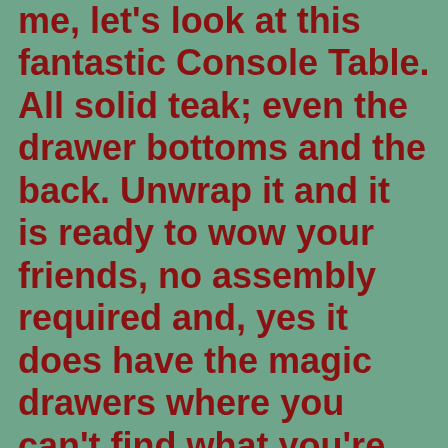me, let's look at this fantastic Console Table. All solid teak; even the drawer bottoms and the back. Unwrap it and it is ready to wow your friends, no assembly required and, yes it does have the magic drawers where you can't find what you're looking for now, but you can find what you needed yesterday.